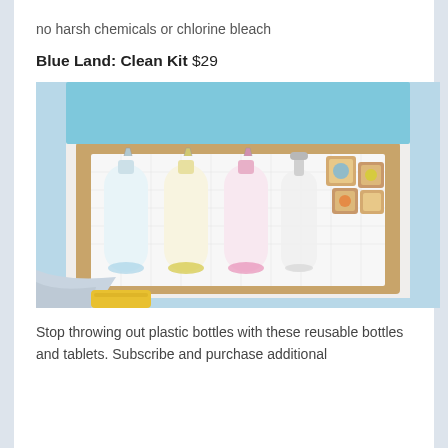no harsh chemicals or chlorine bleach
Blue Land: Clean Kit $29
[Figure (photo): A Blue Land Clean Kit box opened to reveal four reusable spray bottles (blue, yellow, pink, and a hand soap pump) along with several small square cleaning tablet packets arranged in a cardboard box. Cleaning cloths and a sponge are visible in the foreground.]
Stop throwing out plastic bottles with these reusable bottles and tablets. Subscribe and purchase additional